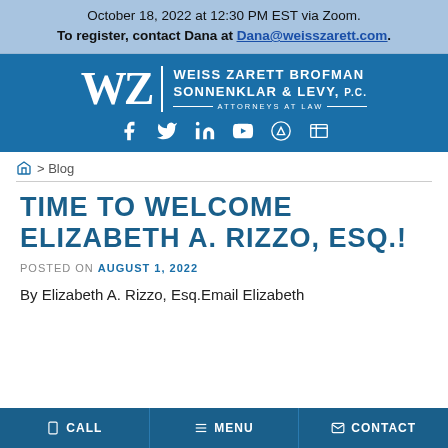October 18, 2022 at 12:30 PM EST via Zoom.
To register, contact Dana at Dana@weisszarett.com.
[Figure (logo): Weiss Zarett Brofman Sonnenklar & Levy, P.C. Attorneys at Law logo with social media icons on blue background]
Home > Blog
TIME TO WELCOME ELIZABETH A. RIZZO, ESQ.!
POSTED ON AUGUST 1, 2022
By Elizabeth A. Rizzo, Esq.Email Elizabeth
CALL   MENU   CONTACT